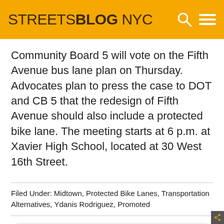STREETSBLOG NYC
Community Board 5 will vote on the Fifth Avenue bus lane plan on Thursday. Advocates plan to press the case to DOT and CB 5 that the redesign of Fifth Avenue should also include a protected bike lane. The meeting starts at 6 p.m. at Xavier High School, located at 30 West 16th Street.
Filed Under: Midtown, Protected Bike Lanes, Transportation Alternatives, Ydanis Rodriguez, Promoted